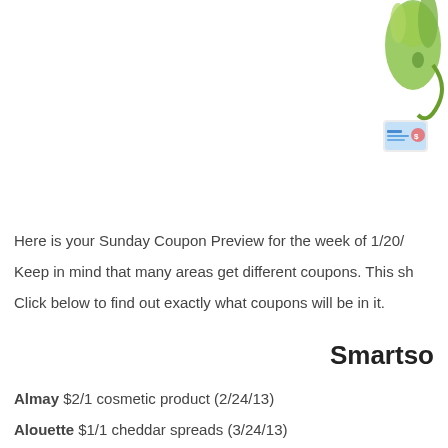[Figure (illustration): Decorative graphic elements in top-right corner: a green swirly character/mascot at top and a small colorful icon/image below it]
Here is your Sunday Coupon Preview for the week of 1/20/
Keep in mind that many areas get different coupons. This sh
Click below to find out exactly what coupons will be in it.
Smartso
Almay $2/1 cosmetic product (2/24/13)
Alouette $1/1 cheddar spreads (3/24/13)